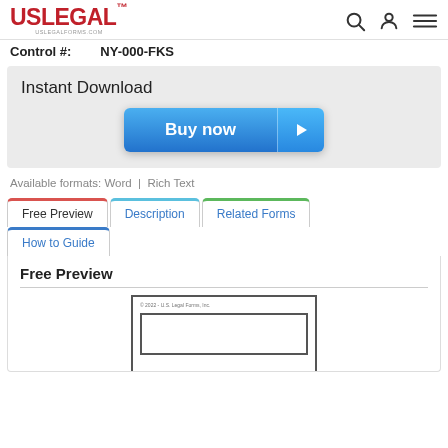[Figure (logo): USLegal logo with eagle and uslegalforms.com text, plus search, user, and menu icons]
Control #: NY-000-FKS
Instant Download
[Figure (other): Buy now button with blue gradient and play arrow icon]
Available formats: Word | Rich Text
Free Preview
Description
Related Forms
How to Guide
Free Preview
[Figure (screenshot): Preview of a legal form document with copyright notice '© 2022 - U.S. Legal Forms, Inc.' and an inner bordered text area]